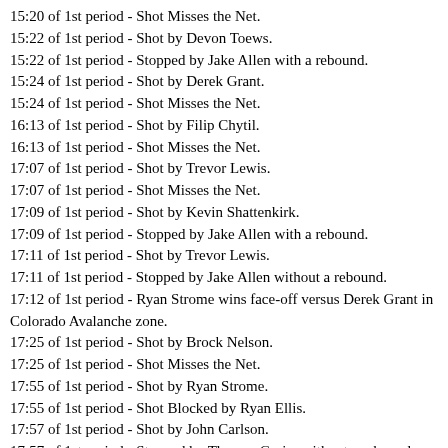15:20 of 1st period - Shot Misses the Net.
15:22 of 1st period - Shot by Devon Toews.
15:22 of 1st period - Stopped by Jake Allen with a rebound.
15:24 of 1st period - Shot by Derek Grant.
15:24 of 1st period - Shot Misses the Net.
16:13 of 1st period - Shot by Filip Chytil.
16:13 of 1st period - Shot Misses the Net.
17:07 of 1st period - Shot by Trevor Lewis.
17:07 of 1st period - Shot Misses the Net.
17:09 of 1st period - Shot by Kevin Shattenkirk.
17:09 of 1st period - Stopped by Jake Allen with a rebound.
17:11 of 1st period - Shot by Trevor Lewis.
17:11 of 1st period - Stopped by Jake Allen without a rebound.
17:12 of 1st period - Ryan Strome wins face-off versus Derek Grant in Colorado Avalanche zone.
17:25 of 1st period - Shot by Brock Nelson.
17:25 of 1st period - Shot Misses the Net.
17:55 of 1st period - Shot by Ryan Strome.
17:55 of 1st period - Shot Blocked by Ryan Ellis.
17:57 of 1st period - Shot by John Carlson.
17:57 of 1st period - Stopped by Thomas Greiss without a rebound.
17:58 of 1st period - Steven Stamkos wins face-off versus Vincent Trocheck in Chicago Blackhawks zone.
18:30 of 1st period - Shot by Oliver Bjorkstrand.
18:30 of 1st period - Stopped by Jake Allen without a rebound.
18:31 of 1st period - Pierre-Edouard Bellemare wins face-off